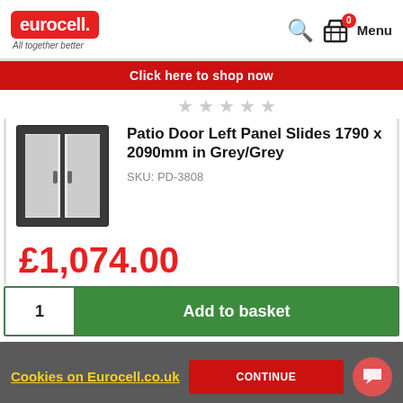[Figure (logo): Eurocell logo in red rounded rectangle with tagline 'All together better']
[Figure (screenshot): Navigation icons: search magnifying glass, basket with 0 badge, Menu text]
Click here to shop now
[Figure (illustration): Five grey star rating icons]
[Figure (illustration): Patio door product image - grey framed sliding door with two glass panels]
Patio Door Left Panel Slides 1790 x 2090mm in Grey/Grey
SKU: PD-3808
£1,074.00
1
Add to basket
Cookies on Eurocell.co.uk
CONTINUE